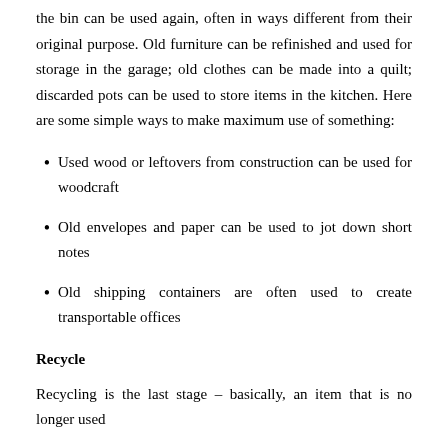the bin can be used again, often in ways different from their original purpose. Old furniture can be refinished and used for storage in the garage; old clothes can be made into a quilt; discarded pots can be used to store items in the kitchen. Here are some simple ways to make maximum use of something:
Used wood or leftovers from construction can be used for woodcraft
Old envelopes and paper can be used to jot down short notes
Old shipping containers are often used to create transportable offices
Recycle
Recycling is the last stage – basically, an item that is no longer used